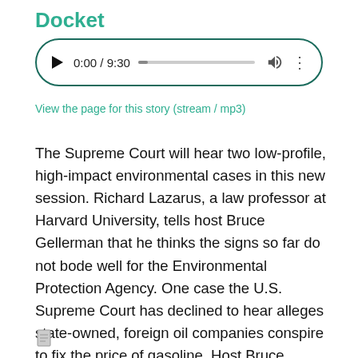Docket
[Figure (other): Audio player showing 0:00 / 9:30 with play button, progress bar, volume icon, and more options icon]
View the page for this story (stream / mp3)
The Supreme Court will hear two low-profile, high-impact environmental cases in this new session. Richard Lazarus, a law professor at Harvard University, tells host Bruce Gellerman that he thinks the signs so far do not bode well for the Environmental Protection Agency. One case the U.S. Supreme Court has declined to hear alleges state-owned, foreign oil companies conspire to fix the price of gasoline. Host Bruce Gellerman talks with William Gotfryd, one of the attorneys who tried to get the case on the Court's docket. (08:10)
[Figure (other): Document icon at bottom left]